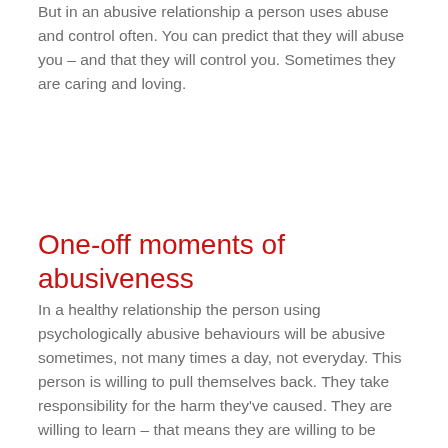But in an abusive relationship a person uses abuse and control often. You can predict that they will abuse you – and that they will control you. Sometimes they are caring and loving.
One-off moments of abusiveness
In a healthy relationship the person using psychologically abusive behaviours will be abusive sometimes, not many times a day, not everyday. This person is willing to pull themselves back. They take responsibility for the harm they've caused. They are willing to learn – that means they are willing to be vulnerable. They are willing to grow and change – that means the relationship is a work in progress. The relationship is a creative adventure. When that person is abusive their apology means something. Their apology means something because they take real